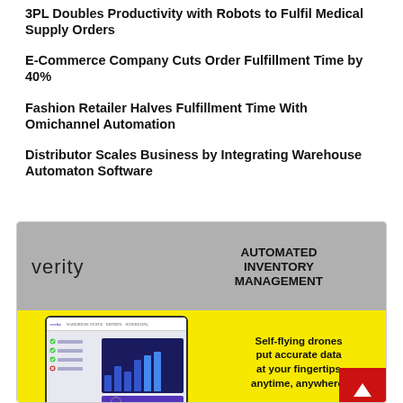3PL Doubles Productivity with Robots to Fulfil Medical Supply Orders
E-Commerce Company Cuts Order Fulfillment Time by 40%
Fashion Retailer Halves Fulfillment Time With Omichannel Automation
Distributor Scales Business by Integrating Warehouse Automaton Software
[Figure (advertisement): Verity Automated Inventory Management advertisement showing a tablet with warehouse management software and bar charts, with tagline 'Self-flying drones put accurate data at your fingertips anytime, anywhere.' and a red CTA button with an upward arrow.]